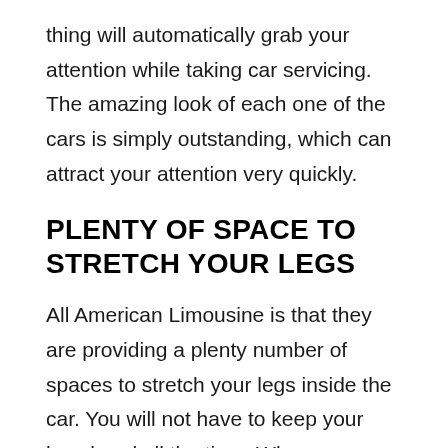thing will automatically grab your attention while taking car servicing. The amazing look of each one of the cars is simply outstanding, which can attract your attention very quickly.
PLENTY OF SPACE TO STRETCH YOUR LEGS
All American Limousine is that they are providing a plenty number of spaces to stretch your legs inside the car. You will not have to keep your legs bend all the time. Whenever you want to have some relaxation and rest you can stretch your legs inside the car. The availability of spaces for leg stretching